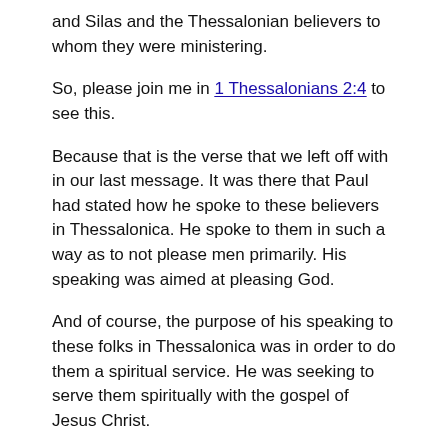and Silas and the Thessalonian believers to whom they were ministering.
So, please join me in 1 Thessalonians 2:4 to see this.
Because that is the verse that we left off with in our last message. It was there that Paul had stated how he spoke to these believers in Thessalonica. He spoke to them in such a way as to not please men primarily. His speaking was aimed at pleasing God.
And of course, the purpose of his speaking to these folks in Thessalonica was in order to do them a spiritual service. He was seeking to serve them spiritually with the gospel of Jesus Christ.
And so, what we're going to see tonight is Paul continuing and expounding on this thought of God-Pleasing Spiritual Service to Others.